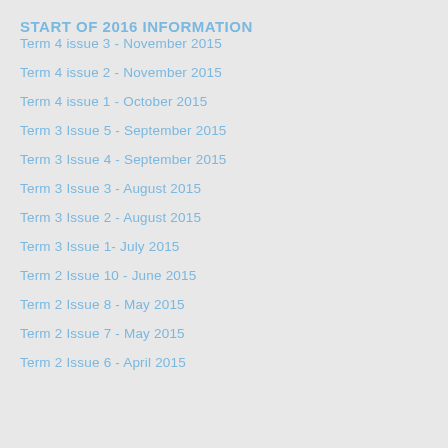START OF 2016 INFORMATION
Term 4 issue 3 - November 2015
Term 4 issue 2 - November 2015
Term 4 issue 1 - October 2015
Term 3 Issue 5 - September 2015
Term 3 Issue 4 - September 2015
Term 3 Issue 3 - August 2015
Term 3 Issue 2 - August 2015
Term 3 Issue 1- July 2015
Term 2 Issue 10 - June 2015
Term 2 Issue 8 - May 2015
Term 2 Issue 7 - May 2015
Term 2 Issue 6 - April 2015